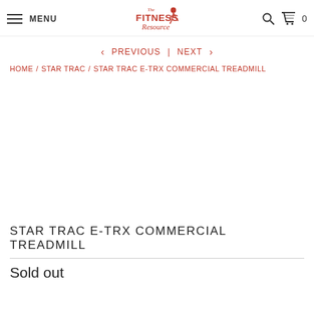MENU | The Fitness Resource | Search | Cart 0
< PREVIOUS | NEXT >
HOME / STAR TRAC / STAR TRAC E-TRX COMMERCIAL TREADMILL
[Figure (other): Empty white product image area for Star Trac E-TRX Commercial Treadmill]
STAR TRAC E-TRX COMMERCIAL TREADMILL
Sold out